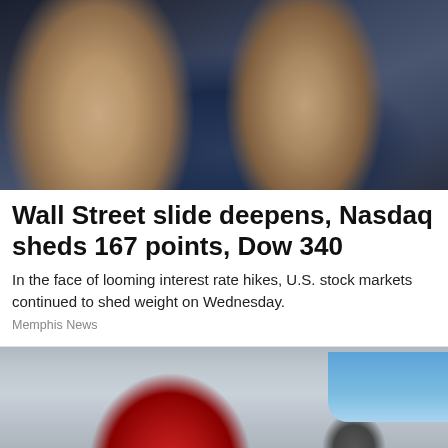[Figure (photo): Two men on a stock trading floor talking on phones and communication devices, busy trading environment]
Wall Street slide deepens, Nasdaq sheds 167 points, Dow 340
In the face of looming interest rate hikes, U.S. stock markets continued to shed weight on Wednesday.
Memphis News
[Figure (photo): Close-up rear view of a silver Smart car showing red tail lights and charging port, with blue sky and signage visible in background]